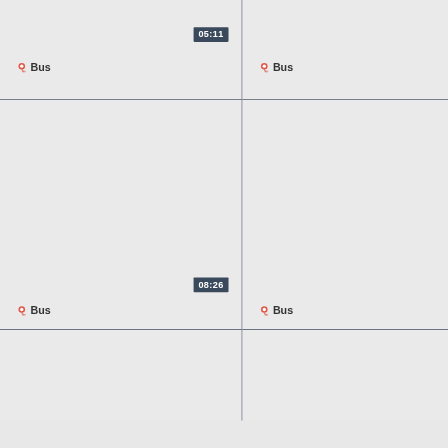[Figure (screenshot): Grid layout of map tiles showing bus stop markers. Top-left tile has a time badge '05:11' and a red Bus pin label. Top-right tile has a red Bus pin label. Middle-left tile has a time badge '08:26' and a red Bus pin label. Middle-right tile has a red Bus pin label. Bottom-left and bottom-right tiles are empty map tile placeholders.]